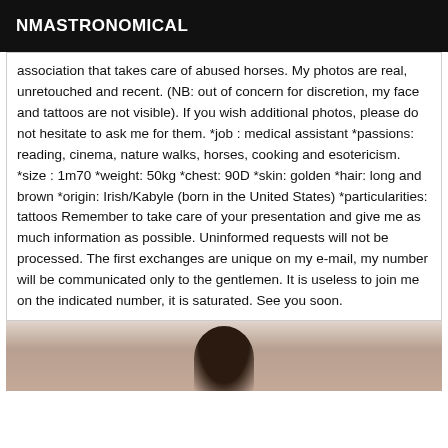NMASTRONOMICAL
association that takes care of abused horses. My photos are real, unretouched and recent. (NB: out of concern for discretion, my face and tattoos are not visible). If you wish additional photos, please do not hesitate to ask me for them. *job : medical assistant *passions: reading, cinema, nature walks, horses, cooking and esotericism. *size : 1m70 *weight: 50kg *chest: 90D *skin: golden *hair: long and brown *origin: Irish/Kabyle (born in the United States) *particularities: tattoos Remember to take care of your presentation and give me as much information as possible. Uninformed requests will not be processed. The first exchanges are unique on my e-mail, my number will be communicated only to the gentlemen. It is useless to join me on the indicated number, it is saturated. See you soon.
[Figure (photo): Photo of a person with long dark hair, partially visible from the shoulders up against a light background.]